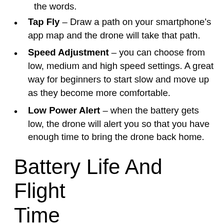the words.
Tap Fly – Draw a path on your smartphone's app map and the drone will take that path.
Speed Adjustment – you can choose from low, medium and high speed settings. A great way for beginners to start slow and move up as they become more comfortable.
Low Power Alert – when the battery gets low, the drone will alert you so that you have enough time to bring the drone back home.
Battery Life And Flight Time